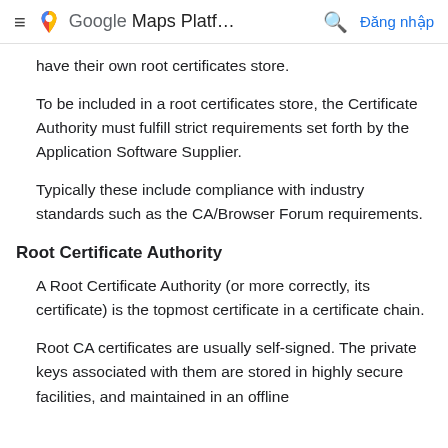Google Maps Platf… Đăng nhập
have their own root certificates store.
To be included in a root certificates store, the Certificate Authority must fulfill strict requirements set forth by the Application Software Supplier.
Typically these include compliance with industry standards such as the CA/Browser Forum requirements.
Root Certificate Authority
A Root Certificate Authority (or more correctly, its certificate) is the topmost certificate in a certificate chain.
Root CA certificates are usually self-signed. The private keys associated with them are stored in highly secure facilities, and maintained in an offline